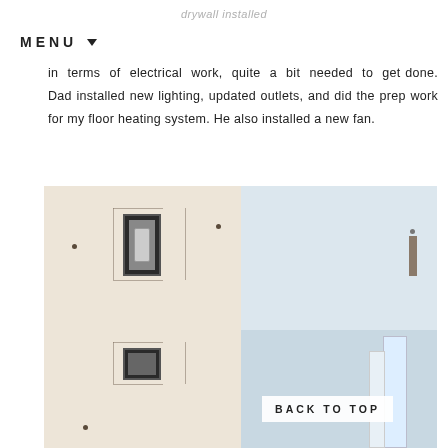drywall installed
in terms of electrical work, quite a bit needed to get done. Dad installed new lighting, updated outlets, and did the prep work for my floor heating system. He also installed a new fan.
[Figure (photo): Two side-by-side photos: left shows drywall with two electrical boxes (a light switch at top and an outlet box at bottom) with pencil markings on wall; right shows a ceiling/upper wall area with a white panel or fan visible]
BACK TO TOP